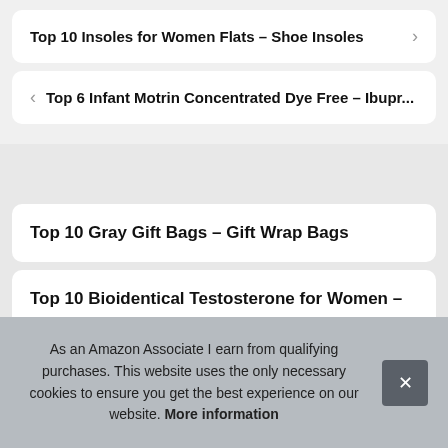Top 10 Insoles for Women Flats – Shoe Insoles
Top 6 Infant Motrin Concentrated Dye Free – Ibupr...
Top 10 Gray Gift Bags – Gift Wrap Bags
Top 10 Bioidentical Testosterone for Women –
As an Amazon Associate I earn from qualifying purchases. This website uses the only necessary cookies to ensure you get the best experience on our website. More information